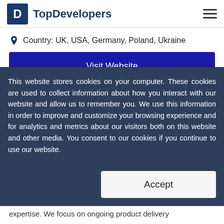TopDevelopers
Country: UK, USA, Germany, Poland, Ukraine
Visit Website
This website stores cookies on your computer. These cookies are used to collect information about how you interact with our website and allow us to remember you. We use this information in order to improve and customize your browsing experience and for analytics and metrics about our visitors both on this website and other media. You consent to our cookies if you continue to use our website.
Accept
expertise. We focus on ongoing product delivery